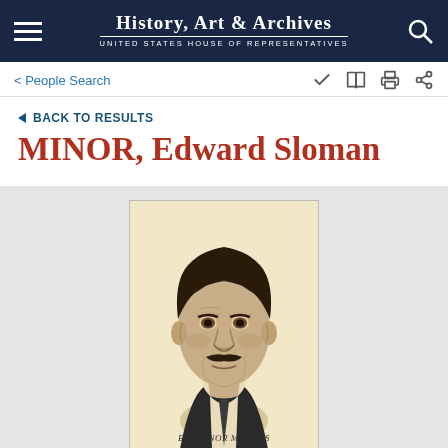History, Art & Archives — United States House of Representatives
< People Search
BACK TO RESULTS
MINOR, Edward Sloman
[Figure (illustration): Black and white engraved portrait illustration of Edward Sloman Minor, labeled 'E.S. MINOR M.C. WIS' at the bottom. Shows a middle-aged man with a mustache wearing a suit and tie, looking slightly to the left.]